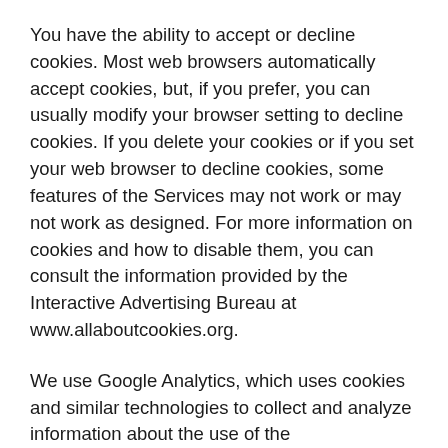You have the ability to accept or decline cookies. Most web browsers automatically accept cookies, but, if you prefer, you can usually modify your browser setting to decline cookies. If you delete your cookies or if you set your web browser to decline cookies, some features of the Services may not work or may not work as designed. For more information on cookies and how to disable them, you can consult the information provided by the Interactive Advertising Bureau at www.allaboutcookies.org.
We use Google Analytics, which uses cookies and similar technologies to collect and analyze information about the use of the